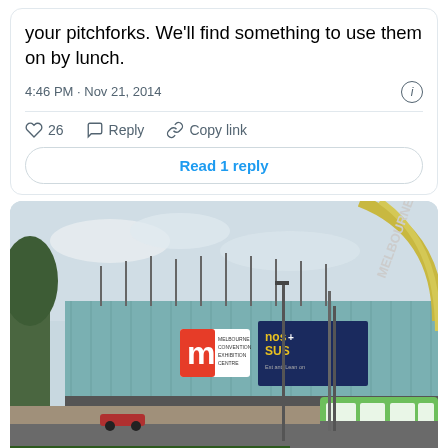your pitchforks. We'll find something to use them on by lunch.
4:46 PM · Nov 21, 2014
♡ 26   Reply   Copy link
Read 1 reply
[Figure (photo): Street-level photograph of Melbourne Convention and Exhibition Centre with a green tram in the foreground and 'MELBOURNE' text visible on a roof structure at right.]